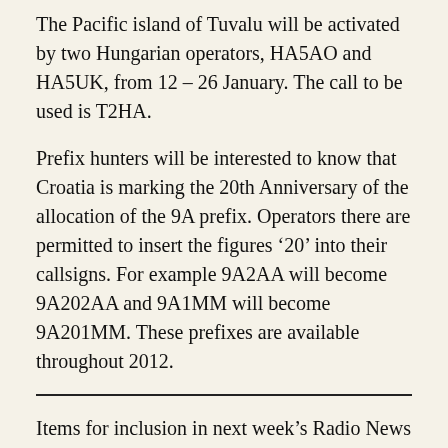The Pacific island of Tuvalu will be activated by two Hungarian operators, HA5AO and HA5UK, from 12 – 26 January. The call to be used is T2HA.
Prefix hunters will be interested to know that Croatia is marking the 20th Anniversary of the allocation of the 9A prefix. Operators there are permitted to insert the figures '20' into their callsigns. For example 9A2AA will become 9A202AA and 9A1MM will become 9A201MM. These prefixes are available throughout 2012.
Items for inclusion in next week's Radio News can be submitted via e-mail to "newsteam /at/ irts / dot / ie" for automatic forwarding to both the radio and printed news services. Urgent news items for the radio news maybe telephoned to the radio news editor, Aidan, EI7JC on 085 7100511.
Please note that items for the radio news should reach the editor no later than midday on Thursday in order to